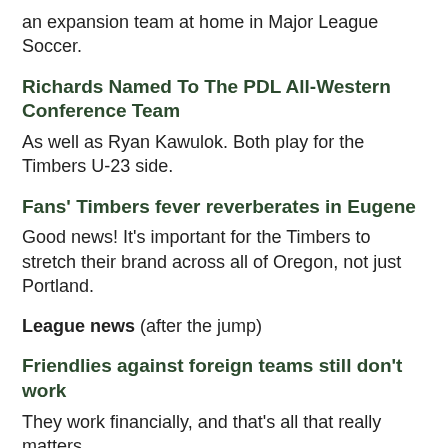an expansion team at home in Major League Soccer.
Richards Named To The PDL All-Western Conference Team
As well as Ryan Kawulok. Both play for the Timbers U-23 side.
Fans' Timbers fever reverberates in Eugene
Good news! It's important for the Timbers to stretch their brand across all of Oregon, not just Portland.
League news (after the jump)
Friendlies against foreign teams still don't work
They work financially, and that's all that really matters.